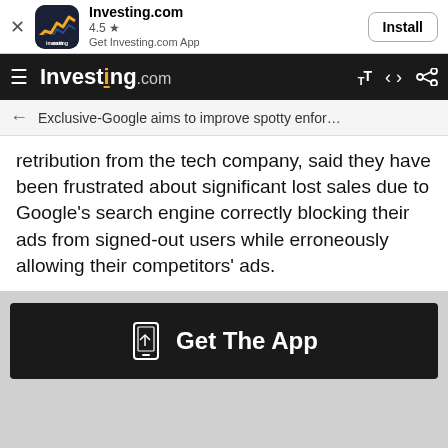[Figure (screenshot): Investing.com app install banner with app icon, 4.5 star rating, Get Investing.com App text, and Install button]
Investing.com
← Exclusive-Google aims to improve spotty enfor...
retribution from the tech company, said they have been frustrated about significant lost sales due to Google's search engine correctly blocking their ads from signed-out users while erroneously allowing their competitors' ads.
[Figure (infographic): Get The App promotional banner with phone icon on dark background]